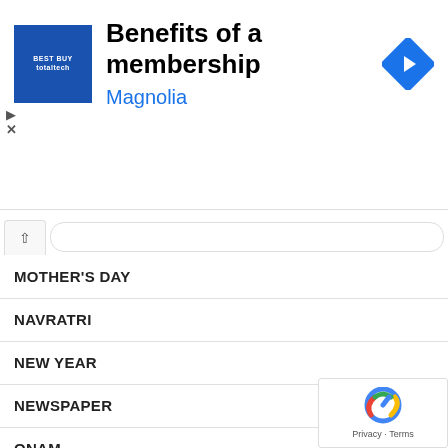[Figure (infographic): Advertisement banner for Best Buy Total Tech membership - Benefits of a membership, Magnolia]
MOTHER'S DAY
NAVRATRI
NEW YEAR
NEWSPAPER
ONAM
ORIGAMI
PAINTING & DRAWING
PAPER CRAFTS
QUILLING